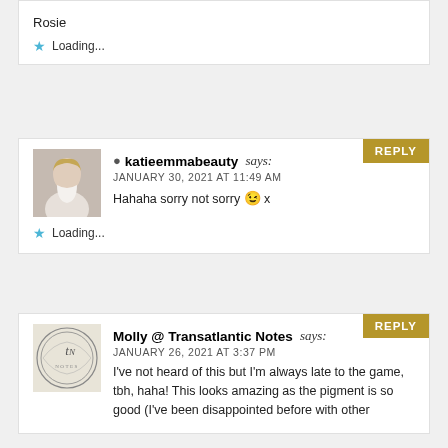Rosie
Loading...
katieemmabeauty says: JANUARY 30, 2021 AT 11:49 AM
Hahaha sorry not sorry 😉 x
Loading...
Molly @ Transatlantic Notes says: JANUARY 26, 2021 AT 3:37 PM
I've not heard of this but I'm always late to the game, tbh, haha! This looks amazing as the pigment is so good (I've been disappointed before with other